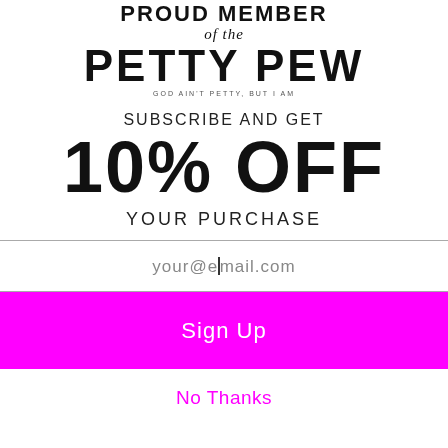[Figure (logo): Proud Member of the Petty Pew logo with tagline]
SUBSCRIBE AND GET
10% OFF
YOUR PURCHASE
your@email.com
Sign Up
No Thanks